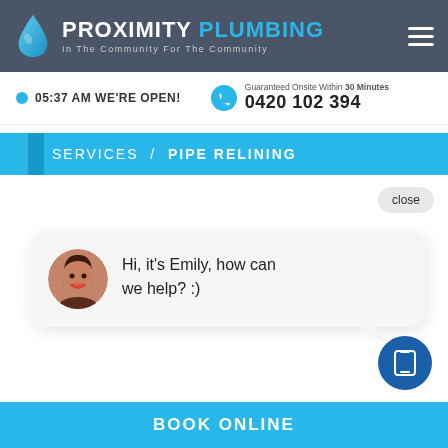[Figure (logo): Proximity Plumbing logo with blue water drop and text reading PROXIMITY PLUMBING, In The Community For The Community, with hamburger menu icon]
05:37 AM WE'RE OPEN!
Guaranteed Onsite Within 30 Minutes
0420 102 394
SERVICES / PIPE RELINING
close
Hi, it's Emily, how can we help? :)
BOOK ONLINE